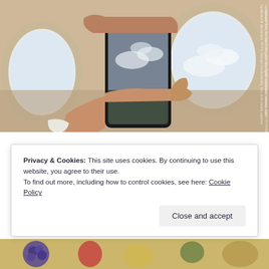[Figure (photo): Person on an airplane holding a smartphone up to the window, photographing clouds. The airplane window is visible in the background with bright sky and clouds.]
Privacy & Cookies: This site uses cookies. By continuing to use this website, you agree to their use.
To find out more, including how to control cookies, see here: Cookie Policy
Close and accept
[Figure (photo): Partial view of a food spread at the bottom of the page, showing fruits and various foods.]